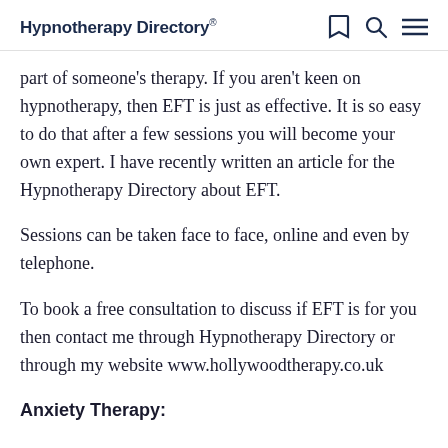Hypnotherapy Directory
part of someone's therapy. If you aren't keen on hypnotherapy, then EFT is just as effective. It is so easy to do that after a few sessions you will become your own expert. I have recently written an article for the Hypnotherapy Directory about EFT.
Sessions can be taken face to face, online and even by telephone.
To book a free consultation to discuss if EFT is for you then contact me through Hypnotherapy Directory or through my website www.hollywoodtherapy.co.uk
Anxiety Therapy: